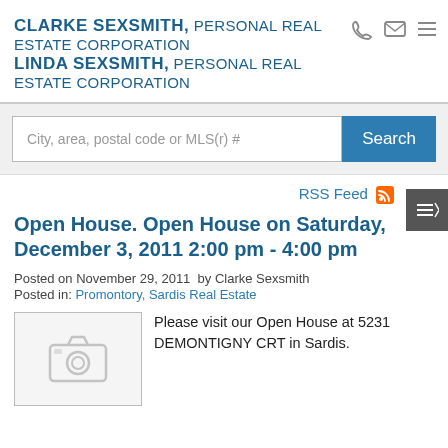CLARKE SEXSMITH, PERSONAL REAL ESTATE CORPORATION
LINDA SEXSMITH, PERSONAL REAL ESTATE CORPORATION
City, area, postal code or MLS(r) #
RSS Feed
Open House. Open House on Saturday, December 3, 2011 2:00 pm - 4:00 pm
Posted on November 29, 2011  by Clarke Sexsmith
Posted in: Promontory, Sardis Real Estate
[Figure (photo): Placeholder image with camera icon]
Please visit our Open House at 5231 DEMONTIGNY CRT in Sardis.